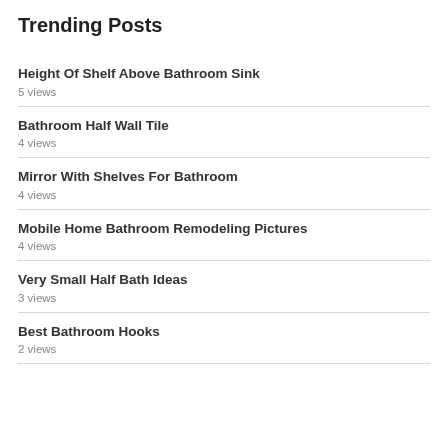Trending Posts
Height Of Shelf Above Bathroom Sink
5 views
Bathroom Half Wall Tile
4 views
Mirror With Shelves For Bathroom
4 views
Mobile Home Bathroom Remodeling Pictures
4 views
Very Small Half Bath Ideas
3 views
Best Bathroom Hooks
2 views